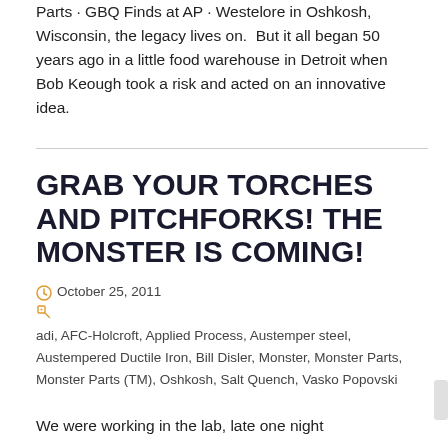Parts · GBQ Finds at AP · Westelore in Oshkosh, Wisconsin, the legacy lives on.  But it all began 50 years ago in a little food warehouse in Detroit when Bob Keough took a risk and acted on an innovative idea.
GRAB YOUR TORCHES AND PITCHFORKS! THE MONSTER IS COMING!
October 25, 2011   adi, AFC-Holcroft, Applied Process, Austemper steel, Austempered Ductile Iron, Bill Disler, Monster, Monster Parts, Monster Parts (TM), Oshkosh, Salt Quench, Vasko Popovski
We were working in the lab, late one night